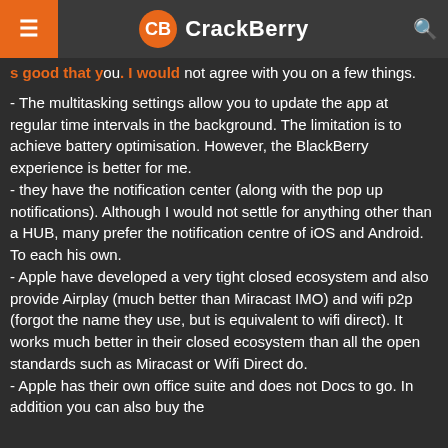CrackBerry
s good that you. I would not agree with you on a few things.
- The multitasking settings allow you to update the app at regular time intervals in the background. The limitation is to achieve battery optimisation. However, the BlackBerry experience is better for me.
- they have the notification center (along with the pop up notifications). Although I would not settle for anything other than a HUB, many prefer the notification centre of iOS and Android. To each his own.
- Apple have developed a very tight closed ecosystem and also provide Airplay (much better than Miracast IMO) and wifi p2p (forgot the name they use, but is equivalent to wifi direct). It works much better in their closed ecosystem than all the open standards such as Miracast or Wifi Direct do.
- Apple has their own office suite and does not Docs to go. In addition you can also buy the